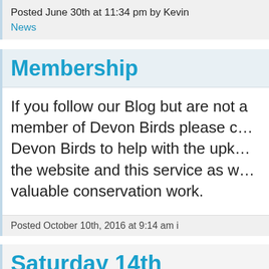Posted June 30th at 11:34 pm by Kevin
News
Membership
If you follow our Blog but are not a member of Devon Birds please consider joining Devon Birds to help with the upkeep of the website and this service as well as our valuable conservation work.
Posted October 10th, 2016 at 9:14 am i
Saturday 14th February 2